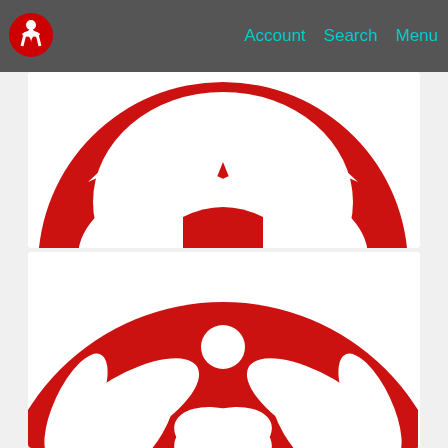Account  Search  Menu
[Figure (logo): Red and white stylized human figure logo on dark header bar]
[Figure (illustration): Large red circular graphic with white cutout design resembling stylized petals/figure - recipe card image for Sweet Potato and Onion Rostis]
Sweet Potato and Onion Rostis
30 min
Easy
2 Portions
[Figure (illustration): Partial red circular graphic with white cutout petal/leaf designs - second recipe card image (cropped)]